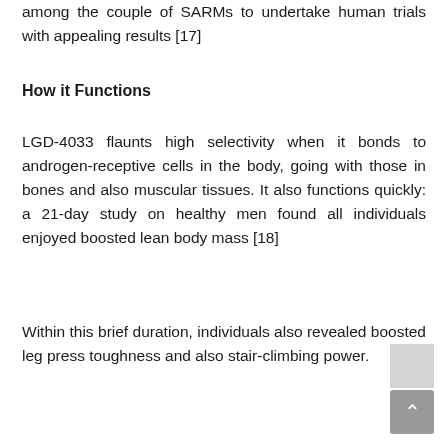among the couple of SARMs to undertake human trials with appealing results [17]
How it Functions
LGD-4033 flaunts high selectivity when it bonds to androgen-receptive cells in the body, going with those in bones and also muscular tissues. It also functions quickly: a 21-day study on healthy men found all individuals enjoyed boosted lean body mass [18]
Within this brief duration, individuals also revealed boosted leg press toughness and also stair-climbing power.